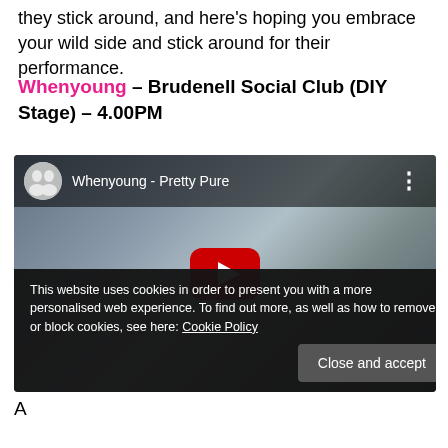they stick around, and here's hoping you embrace your wild side and stick around for their performance.
Whenyoung – Brudenell Social Club (DIY Stage) – 4.00PM
[Figure (screenshot): YouTube video embed showing 'Whenyoung - Pretty Pure' with a play button overlay on a video thumbnail of a woman with long hair in a grey sweater against a grey background.]
This website uses cookies in order to present you with a more personalised web experience. To find out more, as well as how to remove or block cookies, see here: Cookie Policy
A
or with a thin, a double...